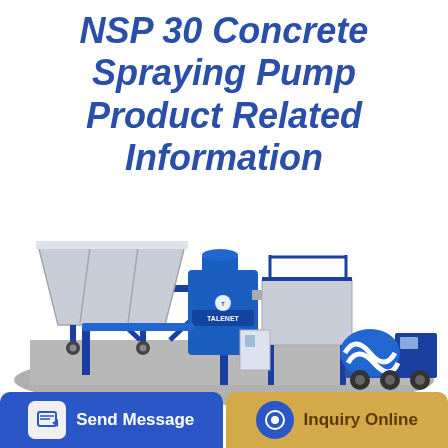NSP 30 Concrete Spraying Pump Product Related Information
[Figure (photo): Industrial concrete spraying pump (NSP 30) — a large blue-framed mixing and batching plant with aggregate hopper, conveyor, central mixer drum branded 'TALENET', and a blue-and-white concrete mixer truck on the right side, all on a grey platform]
Send Message
Inquiry Online